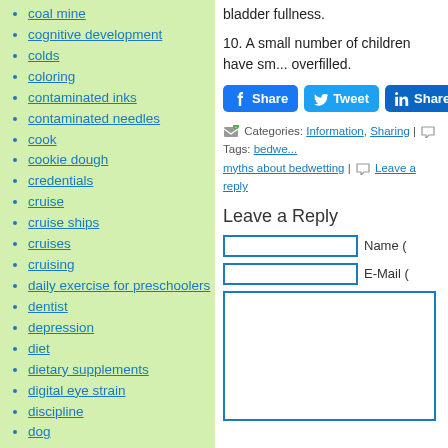coal mine
cognitive development
colds
coloring
contaminated inks
contaminated needles
cook
cookie dough
credentials
cruise
cruise ships
cruises
cruising
daily exercise for preschoolers
dentist
depression
diet
dietary supplements
digital eye strain
discipline
dog
dogs
e-cigarettes
e-learning
bladder fullness.
10. A small number of children have sm... overfilled.
Categories: Information, Sharing | Tags: bedwe... myths about bedwetting | Leave a reply
Leave a Reply